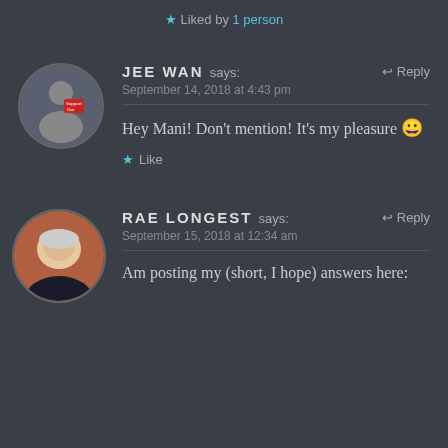★ Liked by 1 person
JEE WAN says: September 14, 2018 at 4:43 pm
Hey Mani! Don't mention! It's my pleasure 😀
★ Like
RAE LONGEST says: September 15, 2018 at 12:34 am
Am posting my (short, I hope) answers here: